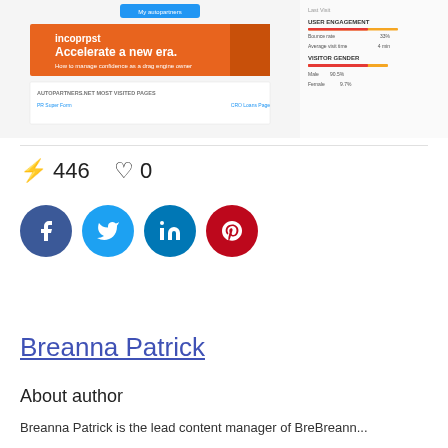[Figure (screenshot): Screenshot of autopartners.net website with banner ad 'Accelerate a new era.' and site analytics showing user engagement and visitor gender data on the right side]
⚡ 446   ♡ 0
[Figure (infographic): Social media share buttons: Facebook (dark blue), Twitter (light blue), LinkedIn (blue), Pinterest (red)]
Breanna Patrick
About author
Breanna Patrick is the lead content manager of BreBreann...